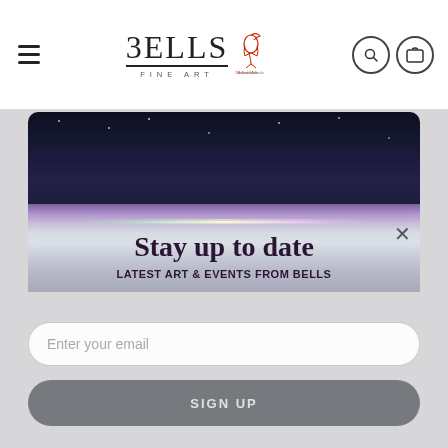BELLS FINE ART
[Figure (screenshot): Bells Fine Art website screenshot with newsletter signup modal. Header shows hamburger menu, BELLS FINE ART logo with certified art studio badge, search and cart icons. Below is a light grey content area with an overlaid modal popup showing a night sky aurora image, 'Stay up to date' heading, 'LATEST ART & EVENTS FROM BELLS' subheading, an email input field, and a SIGN UP button.]
Stay up to date
LATEST ART & EVENTS FROM BELLS
Enter your email
SIGN UP